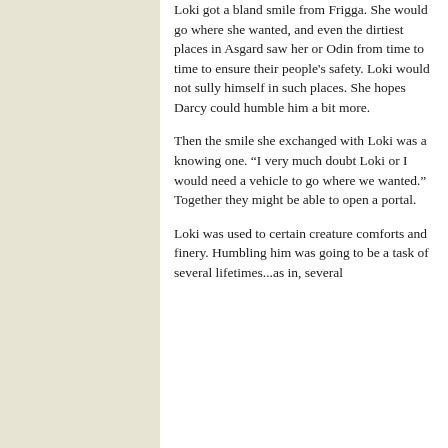Loki got a bland smile from Frigga. She would go where she wanted, and even the dirtiest places in Asgard saw her or Odin from time to time to ensure their people's safety. Loki would not sully himself in such places. She hopes Darcy could humble him a bit more.
Then the smile she exchanged with Loki was a knowing one. “I very much doubt Loki or I would need a vehicle to go where we wanted.” Together they might be able to open a portal.
Loki was used to certain creature comforts and finery. Humbling him was going to be a task of several lifetimes...as in, several